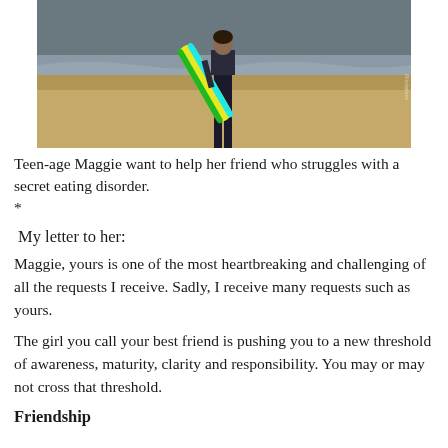[Figure (photo): A person standing on a beach holding a surfboard, wearing dark pants, with ocean waves in the background. The surfboard appears to have colorful stripes.]
Teen-age Maggie want to help her friend who struggles with a secret eating disorder.
*
My letter to her:
Maggie, yours is one of the most heartbreaking and challenging of all the requests I receive. Sadly, I receive many requests such as yours.
The girl you call your best friend is pushing you to a new threshold of awareness, maturity, clarity and responsibility. You may or may not cross that threshold.
Friendship